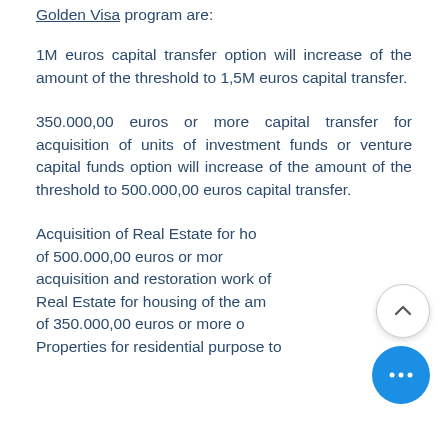Golden Visa program are:
1M euros capital transfer option will increase of the amount of the threshold to 1,5M euros capital transfer.
350.000,00 euros or more capital transfer for acquisition of units of investment funds or venture capital funds option will increase of the amount of the threshold to 500.000,00 euros capital transfer.
Acquisition of Real Estate for housing of 500.000,00 euros or more and acquisition and restoration work of Real Estate for housing of the amount of 350.000,00 euros or more or Properties for residential purpose to